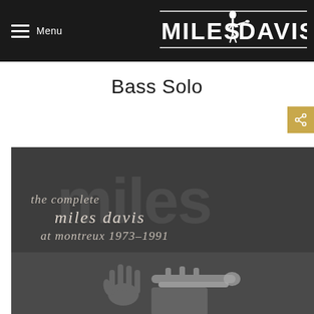Menu — Miles Davis
Bass Solo
[Figure (photo): Album cover for 'The Complete Miles Davis at Montreux 1973-1991' showing text overlay on dark background with a photograph of a hand raised and trumpet/instruments below]